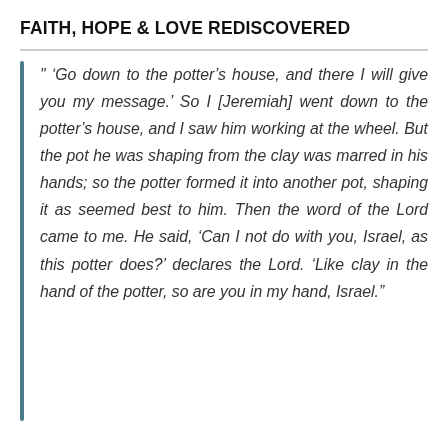FAITH, HOPE & LOVE REDISCOVERED
" ‘Go down to the potter’s house, and there I will give you my message.’ So I [Jeremiah] went down to the potter’s house, and I saw him working at the wheel. But the pot he was shaping from the clay was marred in his hands; so the potter formed it into another pot, shaping it as seemed best to him. Then the word of the Lord came to me. He said, ‘Can I not do with you, Israel, as this potter does?’ declares the Lord. ‘Like clay in the hand of the potter, so are you in my hand, Israel.”